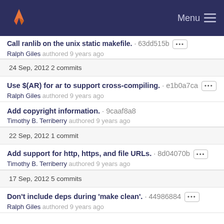GitLab navigation bar with Menu
Call ranlib on the unix static makefile. · 63dd515b
Ralph Giles authored 9 years ago
24 Sep, 2012 2 commits
Use $(AR) for ar to support cross-compiling. · e1b0a7ca
Ralph Giles authored 9 years ago
Add copyright information. · 9caaf8a8
Timothy B. Terriberry authored 9 years ago
22 Sep, 2012 1 commit
Add support for http, https, and file URLs. · 8d04070b
Timothy B. Terriberry authored 9 years ago
17 Sep, 2012 5 commits
Don't include deps during 'make clean'. · 44986884
Ralph Giles authored 9 years ago